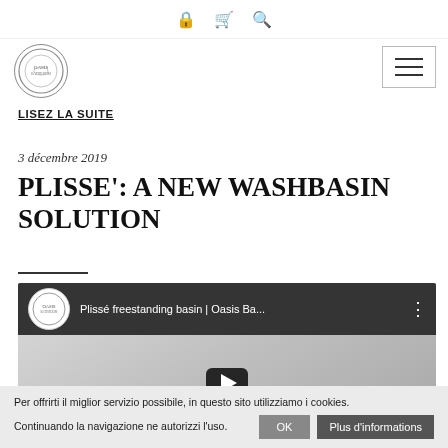🔒 🛒 🔍
[Figure (logo): Oasis brand circular logo]
[Figure (other): Hamburger menu icon button]
LISEZ LA SUITE
3 décembre 2019
PLISSE': A NEW WASHBASIN SOLUTION
[Figure (screenshot): YouTube video embed: Plissé freestanding basin | Oasis Ba... with play button overlay showing a freestanding washbasin product]